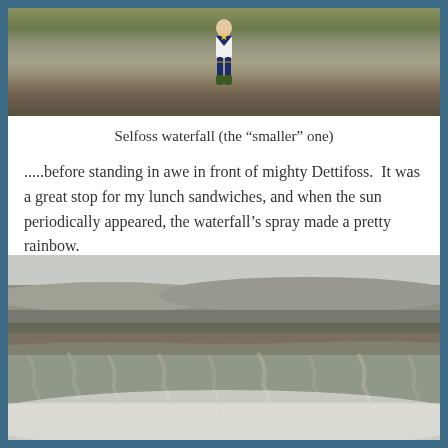[Figure (photo): Child in sailor outfit standing on rocky terrain with sparse vegetation, viewed from waist up]
Selfoss waterfall (the “smaller” one)
.....before standing in awe in front of mighty Dettifoss.  It was a great stop for my lunch sandwiches, and when the sun periodically appeared, the waterfall’s spray made a pretty rainbow.
[Figure (photo): Close-up view of Dettifoss waterfall with rushing brown-grey water cascading over rocky cliff edge, mist below, under overcast sky]